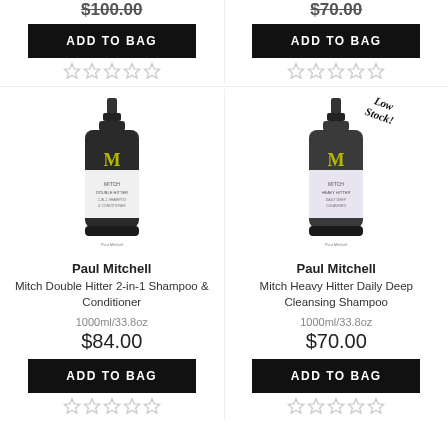$100.00 (partially visible, top-left column)
$70.00 (partially visible, top-right column)
ADD TO BAG (top-left)
ADD TO BAG (top-right)
[Figure (photo): Paul Mitchell Mitch Double Hitter 2-in-1 Shampoo & Conditioner 1000ml bottle, dark/black bottle with M logo and white label]
[Figure (photo): Paul Mitchell Mitch Heavy Hitter Daily Deep Cleansing Shampoo 1000ml bottle, dark/black bottle with M logo and light purple/white label, with Low Stock! badge]
Paul Mitchell
Mitch Double Hitter 2-in-1 Shampoo & Conditioner
1000ml/33.8oz
$84.00
Paul Mitchell
Mitch Heavy Hitter Daily Deep Cleansing Shampoo
1000ml/33.8oz
$70.00
ADD TO BAG (bottom-left)
ADD TO BAG (bottom-right)